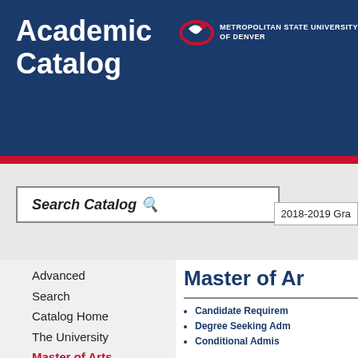Academic Catalog
[Figure (logo): Metropolitan State University of Denver logo with eagle mascot icon and university name text]
Search Catalog 🔍
2018-2019 Gra
Advanced
Search
Catalog Home
The University
Master of Arts
Master of Ar
Candidate Requirem
Degree Seeking Adm
Conditional Admis